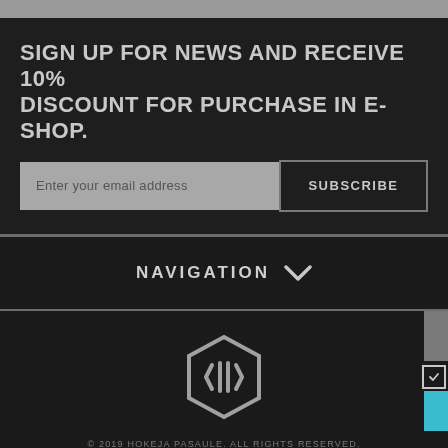SIGN UP FOR NEWS AND RECEIVE 10% DISCOUNT FOR PURCHASE IN E-SHOP.
Enter your email address
SUBSCRIBE
NAVIGATION
[Figure (logo): Hokeja Pasaule hexagonal logo mark in grey outline]
© 2019 HOKEJA PASAULE. All rights reserved.
[Figure (other): Facebook and Instagram social media icons]